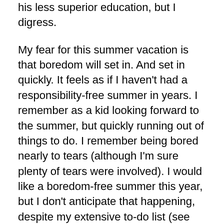his less superior education, but I digress.
My fear for this summer vacation is that boredom will set in. And set in quickly. It feels as if I haven't had a responsibility-free summer in years. I remember as a kid looking forward to the summer, but quickly running out of things to do. I remember being bored nearly to tears (although I'm sure plenty of tears were involved). I would like a boredom-free summer this year, but I don't anticipate that happening, despite my extensive to-do list (see below). I expect my ever expanding belly and my ever decreasing energy levels will have me lounging around more than I would like during the next eight weeks. I also have a sneaking suspicion that this little one is going to come early. I can't explain why, it's just a feeling I have, and the dreams I've been having lately sure as heck aren't helping. Neither are the hiccups I've been feeling in my